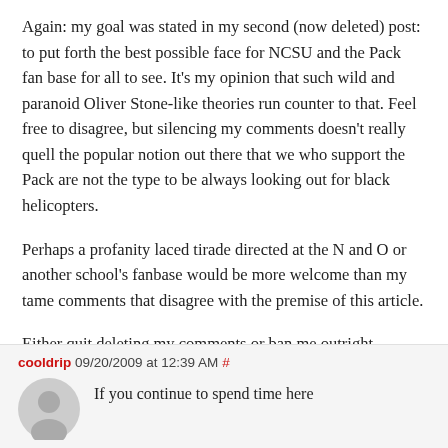Again: my goal was stated in my second (now deleted) post: to put forth the best possible face for NCSU and the Pack fan base for all to see. It’s my opinion that such wild and paranoid Oliver Stone-like theories run counter to that. Feel free to disagree, but silencing my comments doesn’t really quell the popular notion out there that we who support the Pack are not the type to be always looking out for black helicopters.
Perhaps a profanity laced tirade directed at the N and O or another school’s fanbase would be more welcome than my tame comments that disagree with the premise of this article.
Either quit deleting my comments or ban me outright.
cooldrip 09/20/2009 at 12:39 AM #
If you continue to spend time here